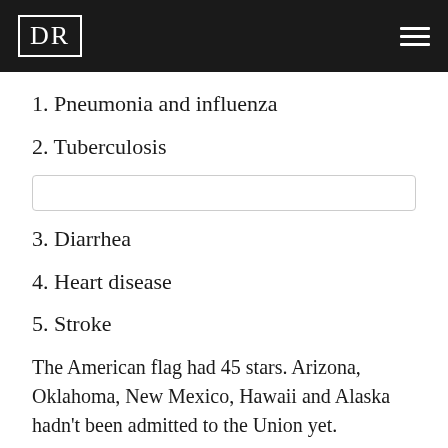DR
1. Pneumonia and influenza
2. Tuberculosis
3. Diarrhea
4. Heart disease
5. Stroke
The American flag had 45 stars. Arizona, Oklahoma, New Mexico, Hawaii and Alaska hadn't been admitted to the Union yet.